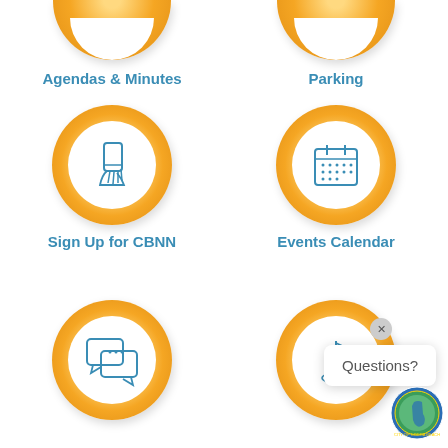[Figure (illustration): Cropped orange ring circle icon at top left (Agendas & Minutes)]
[Figure (illustration): Cropped orange ring circle icon at top right (Parking)]
Agendas & Minutes
Parking
[Figure (illustration): Full orange ring circle with hand holding smartphone icon - Sign Up for CBNN]
[Figure (illustration): Full orange ring circle with calendar icon - Events Calendar]
Sign Up for CBNN
Events Calendar
[Figure (illustration): Full orange ring circle with chat/speech bubbles icon]
[Figure (illustration): Partial orange ring circle with flag/golf icon (bottom right)]
Questions?
[Figure (logo): City of Cocoa Beach Florida circular seal/badge]